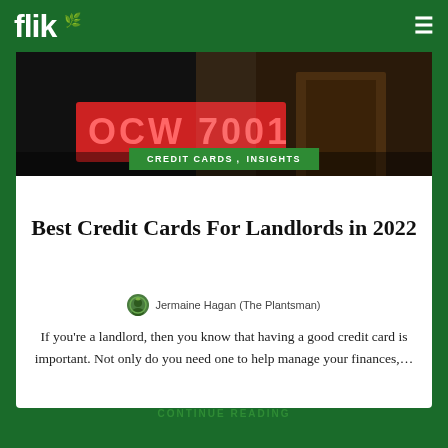flik
[Figure (photo): Dark background photo showing a store sign with partial text visible, dimly lit interior, wooden elements]
CREDIT CARDS, INSIGHTS
Best Credit Cards For Landlords in 2022
Jermaine Hagan (The Plantsman)
If you’re a landlord, then you know that having a good credit card is important. Not only do you need one to help manage your finances,…
CONTINUE READING